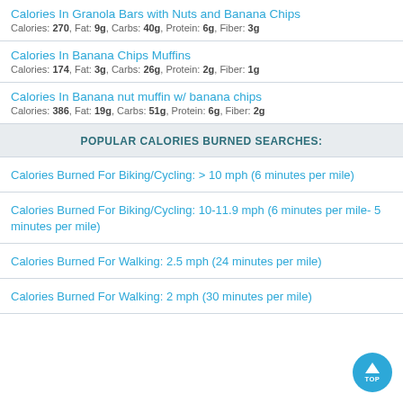Calories In Granola Bars with Nuts and Banana Chips
Calories: 270, Fat: 9g, Carbs: 40g, Protein: 6g, Fiber: 3g
Calories In Banana Chips Muffins
Calories: 174, Fat: 3g, Carbs: 26g, Protein: 2g, Fiber: 1g
Calories In Banana nut muffin w/ banana chips
Calories: 386, Fat: 19g, Carbs: 51g, Protein: 6g, Fiber: 2g
POPULAR CALORIES BURNED SEARCHES:
Calories Burned For Biking/Cycling: > 10 mph (6 minutes per mile)
Calories Burned For Biking/Cycling: 10-11.9 mph (6 minutes per mile- 5 minutes per mile)
Calories Burned For Walking: 2.5 mph (24 minutes per mile)
Calories Burned For Walking: 2 mph (30 minutes per mile)